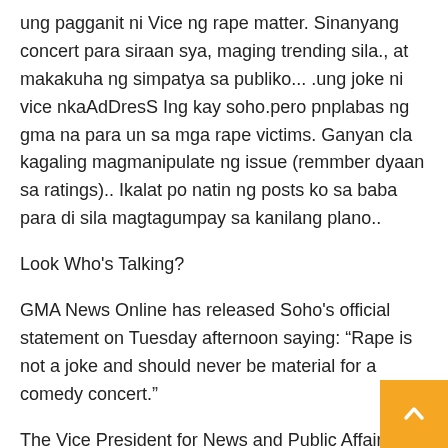ung pagganit ni Vice ng rape matter. Sinanyang concert para siraan sya, maging trending sila., at makakuha ng simpatya sa publiko... .ung joke ni vice nkaAdDresS Ing kay soho.pero pnplabas ng gma na para un sa mga rape victims. Ganyan cla kagaling magmanipulate ng issue (remmber dyaan sa ratings).. Ikalat po natin ng posts ko sa baba para di sila magtagumpay sa kanilang plano..
Look Who's Talking?
GMA News Online has released Soho's official statement on Tuesday afternoon saying: “Rape is not a joke and should never be material for a comedy concert.”
The Vice President for News and Public Affairs of GMA Network also expressed her gratitude to her colleagues who